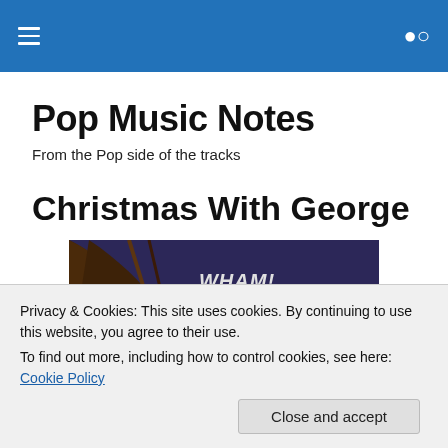Pop Music Notes — navigation header with hamburger menu and search icon
Pop Music Notes
From the Pop side of the tracks
Christmas With George
[Figure (photo): Album cover for Wham! Last Christmas, showing dark blue/purple background with a bare branch on the left and white text reading WHAM! LAST CHRISTMAS on the right]
Privacy & Cookies: This site uses cookies. By continuing to use this website, you agree to their use.
To find out more, including how to control cookies, see here: Cookie Policy
Close and accept